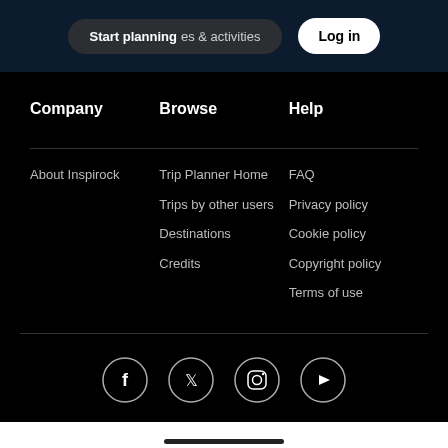Start planning  places & activities   Log in
Company
Browse
Help
About Inspirock
Trip Planner Home
FAQ
Trips by other users
Privacy policy
Destinations
Cookie policy
Credits
Copyright policy
Terms of use
[Figure (illustration): Social media icons: Facebook, Twitter, Instagram, YouTube in circular outlines]